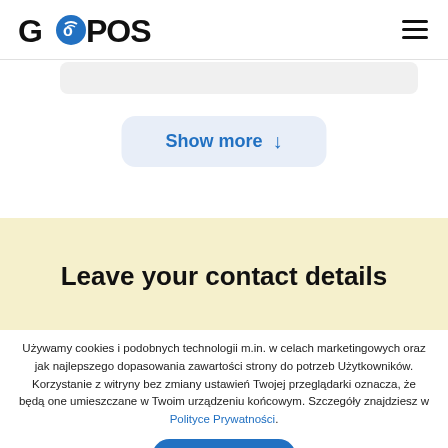GoPOS
[Figure (screenshot): Partial search bar visible at top]
Show more ↓
Leave your contact details
Używamy cookies i podobnych technologii m.in. w celach marketingowych oraz jak najlepszego dopasowania zawartości strony do potrzeb Użytkowników. Korzystanie z witryny bez zmiany ustawień Twojej przeglądarki oznacza, że będą one umieszczane w Twoim urządzeniu końcowym. Szczegóły znajdziesz w Polityce Prywatności.
Akceptuje